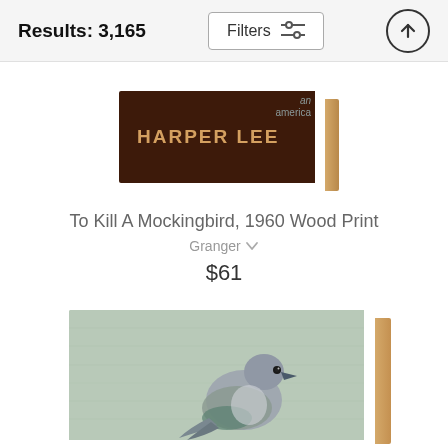Results: 3,165
[Figure (photo): Wood print of Harper Lee book cover with dark brown background and gold lettering, showing angled wood side]
To Kill A Mockingbird, 1960 Wood Print
Granger
$61
[Figure (photo): Wood print showing a mockingbird painting on sage green background, with visible wood side edge, bird facing right]